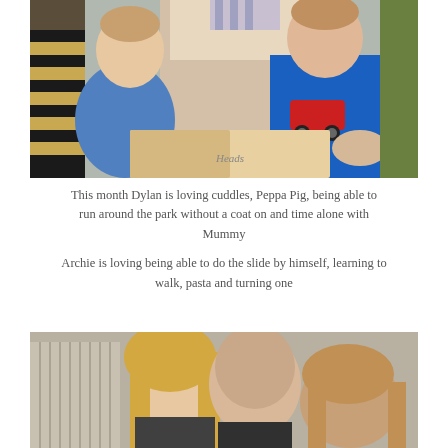[Figure (photo): A woman reading a book with two young boys in blue clothes. One is a baby sitting on her lap, the other is a toddler sitting beside her. The book appears to say 'Heads' on its pages.]
This month Dylan is loving cuddles, Peppa Pig, being able to run around the park without a coat on and time alone with Mummy
Archie is loving being able to do the slide by himself, learning to walk, pasta and turning one
[Figure (photo): A family portrait showing a blonde woman on the left, a bald man in the center, and a young child with light brown hair on the right, in front of a light grey/beige background.]